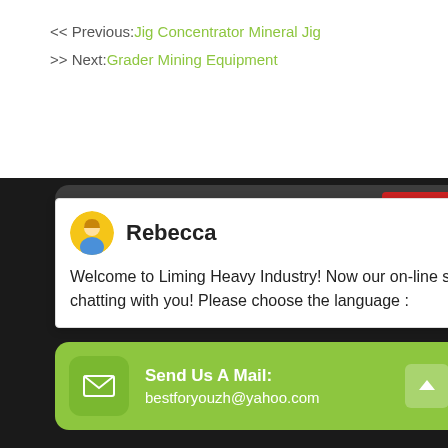<< Previous: Jig Concentrator Mineral Jig
>> Next: Grader Mining Equipment
[Figure (screenshot): Chat popup with avatar of Rebecca, welcome message from Liming Heavy Industry online service]
[Figure (screenshot): Red live chat icon in top right corner]
Give Us A Call: +86 86162511
Send Us A Mail: bestforyouzh@yahoo.com